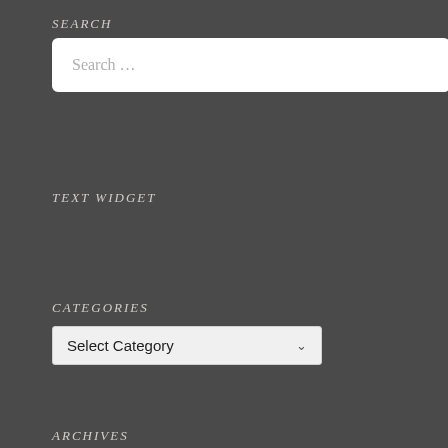SEARCH
[Figure (screenshot): Search input box with placeholder text 'Search ...']
TEXT WIDGET
CATEGORIES
[Figure (screenshot): Dropdown select box with 'Select Category' and a chevron arrow]
ARCHIVES